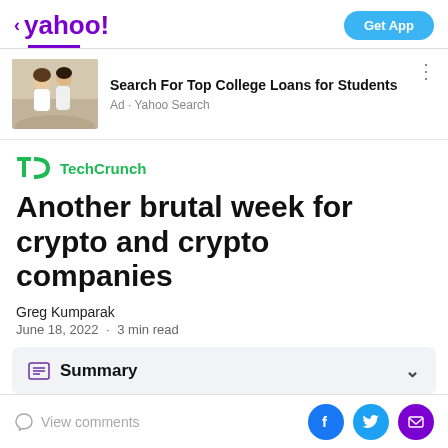< yahoo! | Get App
[Figure (screenshot): Ad banner for 'Search For Top College Loans for Students' from Yahoo Search, with an image of two people hugging outdoors]
[Figure (logo): TechCrunch logo — green TC icon followed by 'TechCrunch' in green]
Another brutal week for crypto and crypto companies
Greg Kumparak
June 18, 2022 · 3 min read
Summary
View comments | Facebook | Twitter | Mail